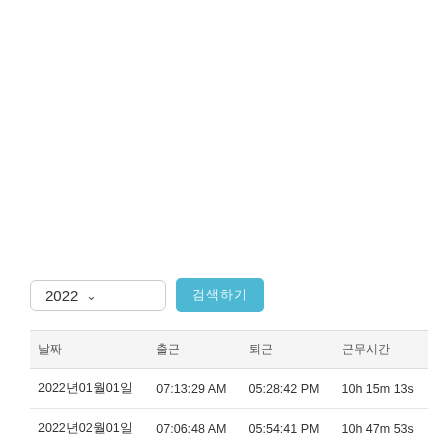| 날짜 | 출근 | 퇴근 | 근무시간 |
| --- | --- | --- | --- |
| 2022년01월01일 | 07:13:29 AM | 05:28:42 PM | 10h 15m 13s |
| 2022년02월01일 | 07:06:48 AM | 05:54:41 PM | 10h 47m 53s |
| 2022년03월01일 | 06:41:47 AM | 06:16:33 PM | 11h 34m 46s |